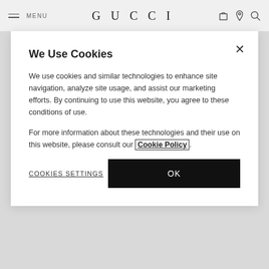MENU | GUCCI
window in-store or by contacting Client Services. The return window starts on the day when your item was made available for collection.
Items must remain in their original condition with all labels attached and intact. Please note, Made to Order and personalized items are not returnable.
We Use Cookies
We use cookies and similar technologies to enhance site navigation, analyze site usage, and assist our marketing efforts. By continuing to use this website, you agree to these conditions of use.
For more information about these technologies and their use on this website, please consult our Cookie Policy.
COOKIES SETTINGS
OK